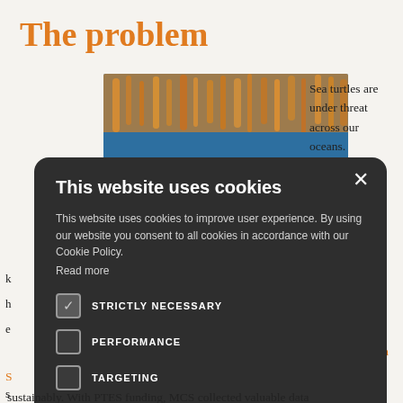The problem
[Figure (photo): Underwater photo of coral reef with sea turtle habitat, showing coral and blue water]
Sea turtles are under threat across our oceans. They ... their eggs are h... sequence of e... fish. In the ... Conservation S... ensure that s... turtles is done sustainably. With PTES funding, MCS collected valuable data
This website uses cookies

This website uses cookies to improve user experience. By using our website you consent to all cookies in accordance with our Cookie Policy. Read more

STRICTLY NECESSARY
PERFORMANCE
TARGETING

SAVE & CLOSE   DECLINE ALL

SHOW DETAILS